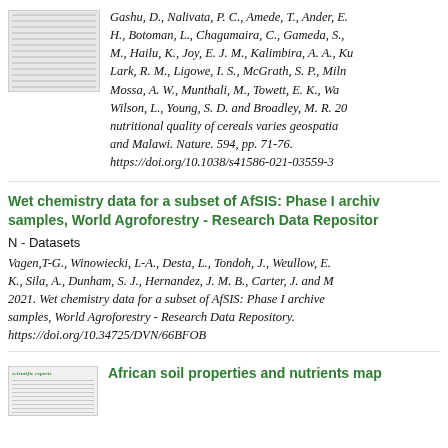[Figure (other): Thumbnail image of a document/paper page]
Gashu, D., Nalivata, P. C., Amede, T., Ander, E. H., Botoman, L., Chagumaira, C., Gameda, S., M., Hailu, K., Joy, E. J. M., Kalimbira, A. A., Ku Lark, R. M., Ligowe, I. S., McGrath, S. P., Miln Mossa, A. W., Munthali, M., Towett, E. K., Wa Wilson, L., Young, S. D. and Broadley, M. R. 20 nutritional quality of cereals varies geospatia and Malawi. Nature. 594, pp. 71-76. https://doi.org/10.1038/s41586-021-03559-3
Wet chemistry data for a subset of AfSIS: Phase I archiv samples, World Agroforestry - Research Data Repositor
N - Datasets
Vagen,T-G., Winowiecki, L-A., Desta, L., Tondoh, J., Weullow, E. K., Sila, A., Dunham, S. J., Hernandez, J. M. B., Carter, J. and M 2021. Wet chemistry data for a subset of AfSIS: Phase I archive samples, World Agroforestry - Research Data Repository. https://doi.org/10.34725/DVN/66BFOB
[Figure (other): Thumbnail of a Scientific Reports journal article]
African soil properties and nutrients map